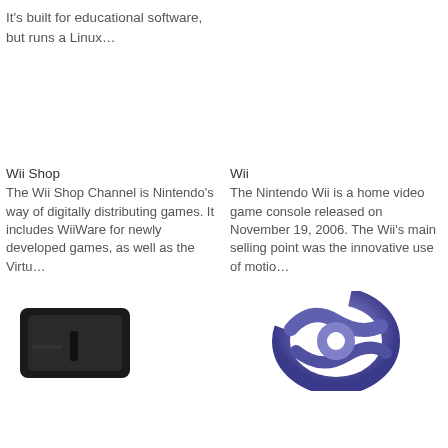It's built for educational software, but runs a Linux…
[Figure (photo): Empty image placeholder top left]
[Figure (photo): Empty image placeholder top right]
Wii Shop
The Wii Shop Channel is Nintendo's way of digitally distributing games. It includes WiiWare for newly developed games, as well as the Virtu…
Wii
The Nintendo Wii is a home video game console released on November 19, 2006. The Wii's main selling point was the innovative use of motio…
[Figure (photo): PlayStation 3 console photo]
[Figure (logo): PlayStation Network logo]